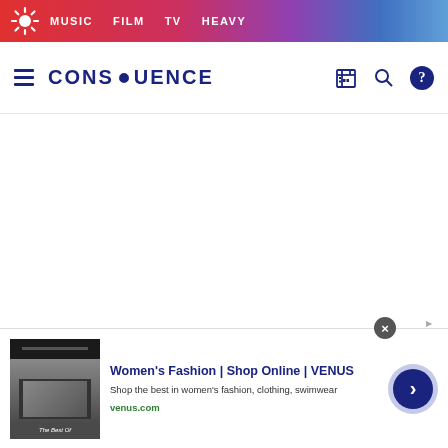MUSIC  FILM  TV  HEAVY
[Figure (logo): Consequence of Sound logo with flower/sunburst icon and nav links MUSIC, FILM, TV, HEAVY on gradient red-to-blue bar]
[Figure (logo): CONSEQUENCE logo with gear/sunflower icon in main nav header with hamburger menu, building icon, search icon, and help circle icon]
Women's Fashion | Shop Online | VENUS
Shop the best in women's fashion, clothing, swimwear
venus.com